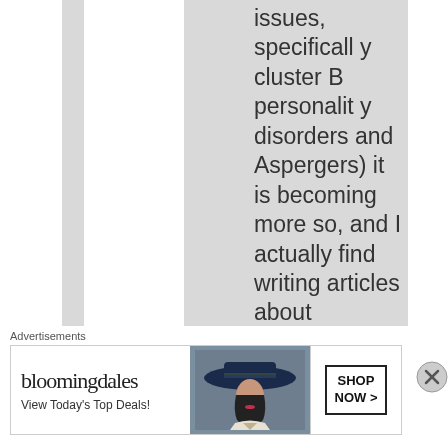issues, specifically cluster B personality disorders and Aspergers) it is becoming more so, and I actually find writing articles about blogging
Advertisements
[Figure (other): Bloomingdales advertisement banner reading 'bloomingdales View Today's Top Deals!' with an image of a woman in a wide-brim hat and a 'SHOP NOW >' call-to-action button]